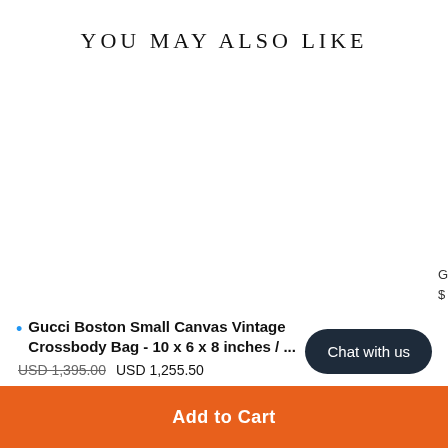YOU MAY ALSO LIKE
[Figure (other): Empty white product image area for carousel item, with partial text visible at right edge]
Gucci Boston Small Canvas Vintage Crossbody Bag - 10 x 6 x 8 inches / ...
USD 1,395.00  USD 1,255.50
Chat with us
Add to Cart